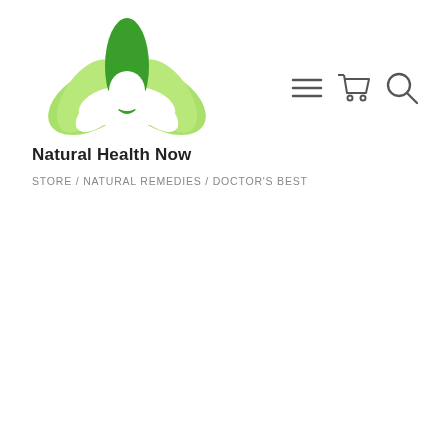[Figure (logo): Natural Health Now logo: green lotus/leaf flower design above bold text 'Natural Health Now']
[Figure (other): Navigation icons: hamburger menu (three horizontal lines), shopping cart icon, search/magnifying glass icon]
STORE / NATURAL REMEDIES / DOCTOR'S BEST